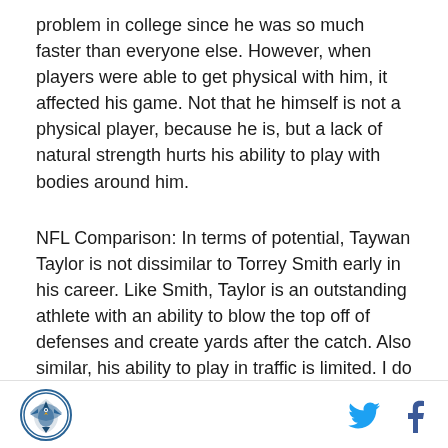problem in college since he was so much faster than everyone else. However, when players were able to get physical with him, it affected his game. Not that he himself is not a physical player, because he is, but a lack of natural strength hurts his ability to play with bodies around him.
NFL Comparison: In terms of potential, Taywan Taylor is not dissimilar to Torrey Smith early in his career. Like Smith, Taylor is an outstanding athlete with an ability to blow the top off of defenses and create yards after the catch. Also similar, his ability to play in traffic is limited. I do think Taylor has room to get better there if he can add some strength to his game, and overall he can be a lot better than Torrey Smith has been, but they Smith
[logo] [twitter] [facebook]